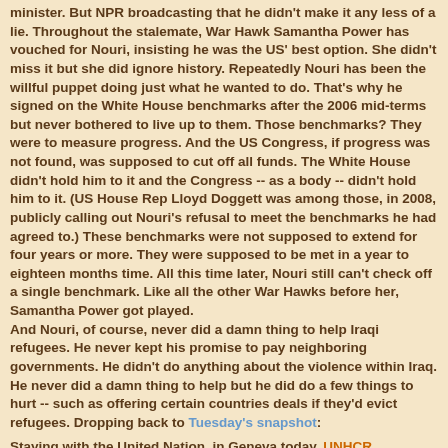minister. But NPR broadcasting that he didn't make it any less of a lie. Throughout the stalemate, War Hawk Samantha Power has vouched for Nouri, insisting he was the US' best option. She didn't miss it but she did ignore history. Repeatedly Nouri has been the willful puppet doing just what he wanted to do. That's why he signed on the White House benchmarks after the 2006 mid-terms but never bothered to live up to them. Those benchmarks? They were to measure progress. And the US Congress, if progress was not found, was supposed to cut off all funds. The White House didn't hold him to it and the Congress -- as a body -- didn't hold him to it. (US House Rep Lloyd Doggett was among those, in 2008, publicly calling out Nouri's refusal to meet the benchmarks he had agreed to.) These benchmarks were not supposed to extend for four years or more. They were supposed to be met in a year to eighteen months time. All this time later, Nouri still can't check off a single benchmark. Like all the other War Hawks before her, Samantha Power got played.
And Nouri, of course, never did a damn thing to help Iraqi refugees. He never kept his promise to pay neighboring governments. He didn't do anything about the violence within Iraq. He never did a damn thing to help but he did do a few things to hurt -- such as offering certain countries deals if they'd evict refugees. Dropping back to Tuesday's snapshot:
Staying with the United Nation, in Geneva today, UNHCR spokesperson Melissa Fleming addressed the issue of Iraqi returnees. "A poll of Iraqis who have returned to Baghdad from